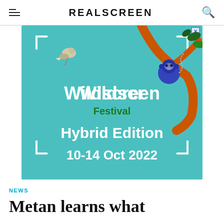REALSCREEN
[Figure (illustration): Wildscreen Festival Hybrid Edition 10-14 Oct 2022 advertisement banner on teal/turquoise background with illustrated bird on left and monkey/ape on branch on right]
NEWS
Metan learns what